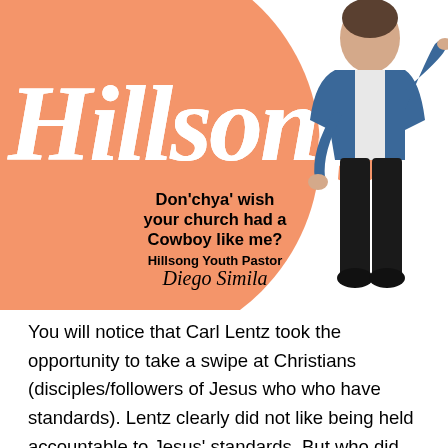[Figure (illustration): Hillsong branded image with a large salmon/coral circle background, stylized italic 'Hillsong' text in white, bold black text reading 'Don'chya' wish your church had a Cowboy like me?', attribution to 'Hillsong Youth Pastor Diego Simila', and a photo of a man in a blue denim jacket and black jeans pointing at the viewer.]
You will notice that Carl Lentz took the opportunity to take a swipe at Christians (disciples/followers of Jesus who who have standards). Lentz clearly did not like being held accountable to Jesus' standards. But who did he blame for